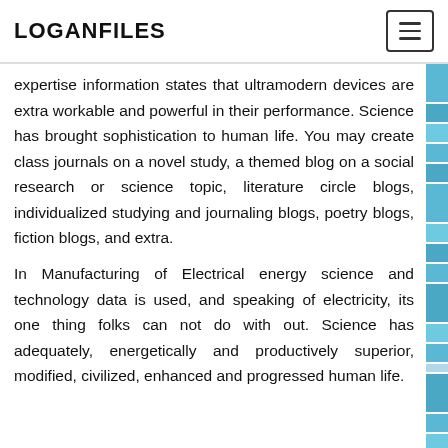LOGANFILES
expertise information states that ultramodern devices are extra workable and powerful in their performance. Science has brought sophistication to human life. You may create class journals on a novel study, a themed blog on a social research or science topic, literature circle blogs, individualized studying and journaling blogs, poetry blogs, fiction blogs, and extra.
In Manufacturing of Electrical energy science and technology data is used, and speaking of electricity, its one thing folks can not do with out. Science has adequately, energetically and productively superior, modified, civilized, enhanced and progressed human life.